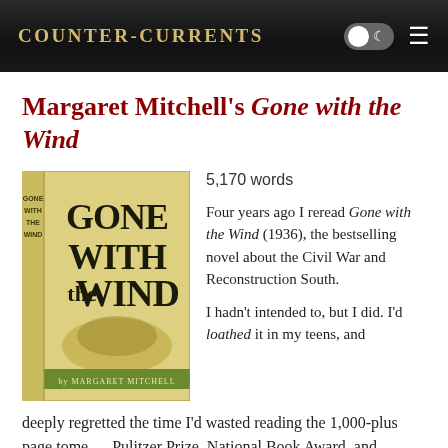Counter-Currents
Margaret Mitchell's Gone with the Wind
[Figure (photo): Book cover of Gone with the Wind by Margaret Mitchell — yellow/cream colored hardcover with bold black title text and author name at bottom]
5,170 words
Four years ago I reread Gone with the Wind (1936), the bestselling novel about the Civil War and Reconstruction South.
I hadn't intended to, but I did. I'd loathed it in my teens, and deeply regretted the time I'd wasted reading the 1,000-plus page tome — Pulitzer Prize, National Book Award, and famous four-hour motion picture